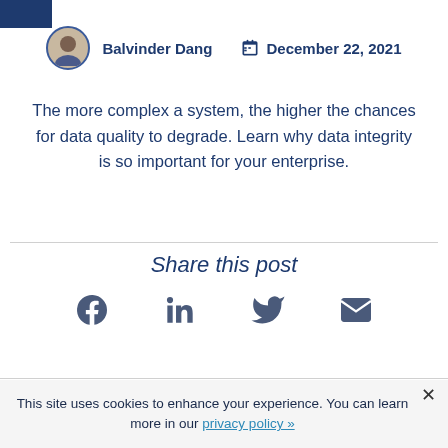Balvinder Dang   December 22, 2021
The more complex a system, the higher the chances for data quality to degrade. Learn why data integrity is so important for your enterprise.
Share this post
[Figure (infographic): Social share icons: Facebook, LinkedIn, Twitter, Email]
This site uses cookies to enhance your experience. You can learn more in our privacy policy »